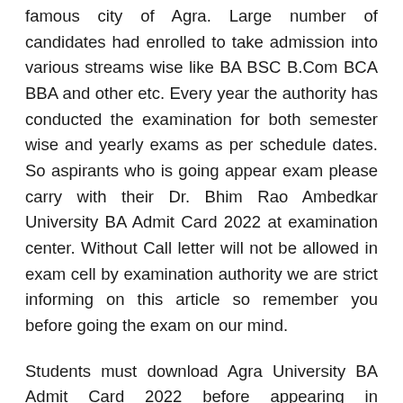famous city of Agra. Large number of candidates had enrolled to take admission into various streams wise like BA BSC B.Com BCA BBA and other etc. Every year the authority has conducted the examination for both semester wise and yearly exams as per schedule dates. So aspirants who is going appear exam please carry with their Dr. Bhim Rao Ambedkar University BA Admit Card 2022 at examination center. Without Call letter will not be allowed in exam cell by examination authority we are strict informing on this article so remember you before going the exam on our mind.
Students must download Agra University BA Admit Card 2022 before appearing in examination center. Without Manipur University BA 1st 2nd 3rd Year Admit Card 2022 students will not permit to enter in Examination 2022. Students keep Agra